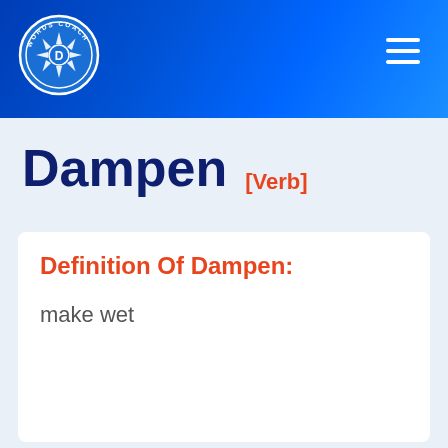[Figure (logo): Words Coach circular logo with camera aperture icon and letter D in center, white on blue background]
Dampen [Verb]
Definition Of Dampen:
make wet